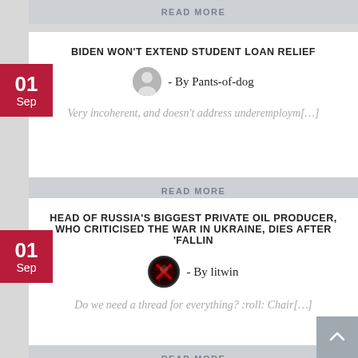READ MORE
BIDEN WON'T EXTEND STUDENT LOAN RELIEF
- By Pants-of-dog
Very incoherent, and doesn't address underemploym[…]
READ MORE
HEAD OF RUSSIA'S BIGGEST PRIVATE OIL PRODUCER, WHO CRITICISED THE WAR IN UKRAINE, DIES AFTER 'FALLIN
- By litwin
Do we need a thread for everything? :roll: Chair[…]
READ MORE